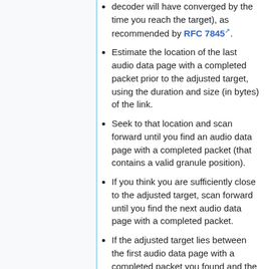decoder will have converged by the time you reach the target), as recommended by RFC 7845.
Estimate the location of the last audio data page with a completed packet prior to the adjusted target, using the duration and size (in bytes) of the link.
Seek to that location and scan forward until you find an audio data page with a completed packet (that contains a valid granule position).
If you think you are sufficiently close to the adjusted target, scan forward until you find the next audio data page with a completed packet.
If the adjusted target lies between the first audio data page with a completed packet you found and the next one, stop. You can decode